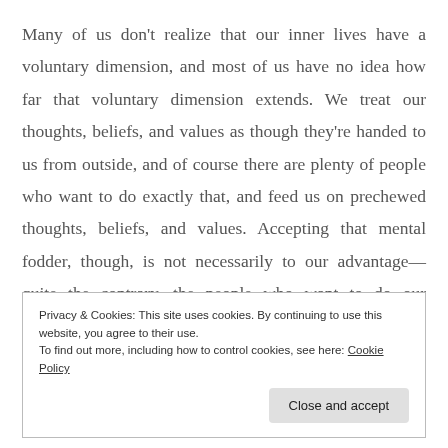Many of us don't realize that our inner lives have a voluntary dimension, and most of us have no idea how far that voluntary dimension extends. We treat our thoughts, beliefs, and values as though they're handed to us from outside, and of course there are plenty of people who want to do exactly that, and feed us on prechewed thoughts, beliefs, and values. Accepting that mental fodder, though, is not necessarily to our advantage—quite the contrary, the people who want to do our thinking, believing, and valuing
Privacy & Cookies: This site uses cookies. By continuing to use this website, you agree to their use.
To find out more, including how to control cookies, see here: Cookie Policy
Close and accept